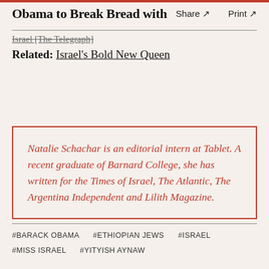Obama to Break Bread with  Share ↗  Print ↗
Israel [The Telegraph]
Related: Israel's Bold New Queen
Natalie Schachar is an editorial intern at Tablet. A recent graduate of Barnard College, she has written for the Times of Israel, The Atlantic, The Argentina Independent and Lilith Magazine.
#BARACK OBAMA   #ETHIOPIAN JEWS   #ISRAEL   #MISS ISRAEL   #YITYISH AYNAW